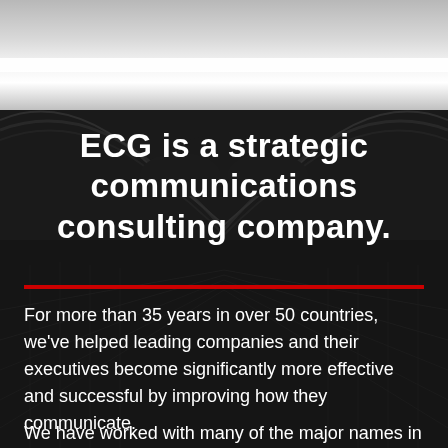[Figure (photo): Top banner area with light gray gradient background, representing a header bar]
[Figure (photo): Dark background section with a fisheye/wide-angle photo of a bridge or walkway structure overhead, dark and moody atmosphere]
ECG is a strategic communications consulting company.
For more than 35 years in over 50 countries, we've helped leading companies and their executives become significantly more effective and successful by improving how they communicate.
We have worked with many of the major names in the